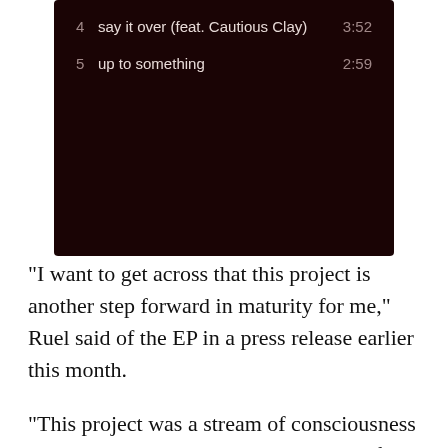[Figure (screenshot): Dark-themed music player screenshot showing track listing: track 4 'say it over (feat. Cautious Clay)' 3:52, track 5 'up to something' 2:59, on a dark maroon/black background.]
“I want to get across that this project is another step forward in maturity for me,” Ruel said of the EP in a press release earlier this month.
“This project was a stream of consciousness when I was writing it at the time, and I feel like that’s the way all projects and songs are for me. They are